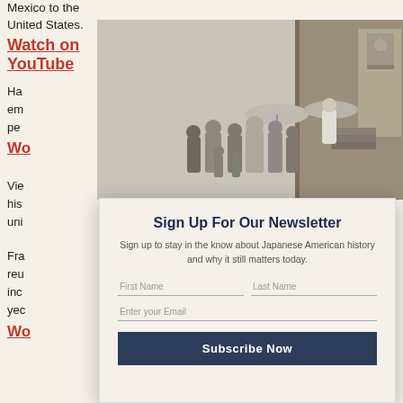Mexico to the United States.
Watch on YouTube
[Figure (photo): Black and white historical photograph showing a group of people, including women with umbrellas, children, and men in white uniforms, gathered near what appears to be a wooden building or train car with steps.]
Have employees period
Watch on YouTube
View his unique
Frankreu includes year
Watch on YouTube
Sign Up For Our Newsletter
Sign up to stay in the know about Japanese American history and why it still matters today.
First Name
Last Name
Enter your Email
Subscribe Now